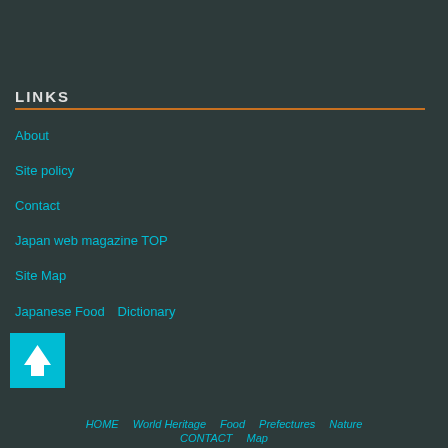LINKS
About
Site policy
Contact
Japan web magazine TOP
Site Map
Japanese Food　Dictionary
[Figure (other): Teal square button with upward arrow icon for back-to-top navigation]
HOME   World Heritage   Food   Prefectures   Nature   CONTACT   Map